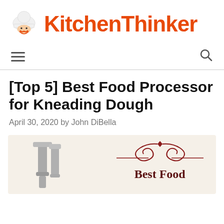KitchenThinker
[Top 5] Best Food Processor for Kneading Dough
April 30, 2020 by John DiBella
[Figure (illustration): Decorative image showing a food processor attachment on the left against a beige background, and an ornamental scroll design with the text 'Best Food' on the right side.]